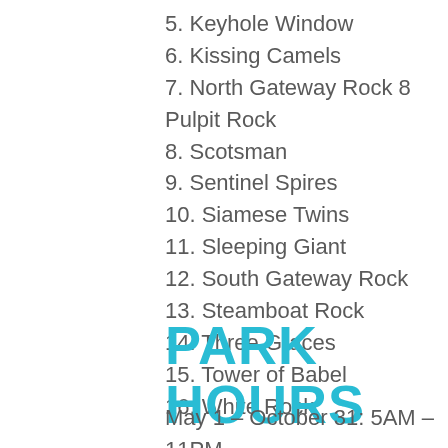5. Keyhole Window
6. Kissing Camels
7. North Gateway Rock 8 Pulpit Rock
8. Scotsman
9. Sentinel Spires
10. Siamese Twins
11. Sleeping Giant
12. South Gateway Rock
13. Steamboat Rock
14. Three Graces
15. Tower of Babel
16. White Rock
PARK HOURS
May 1 – October 31: 5AM – 11PM
November 1 – April 30: 5AM – 9PM